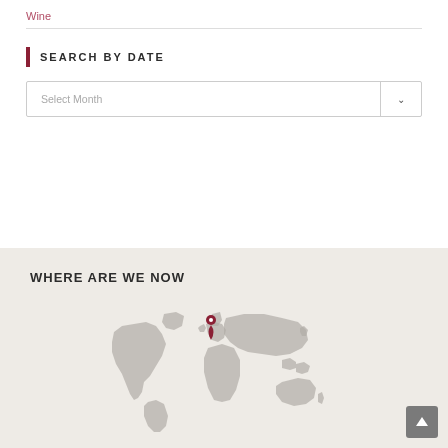Wine
SEARCH BY DATE
Select Month
WHERE ARE WE NOW
[Figure (map): World map in grey with a red location pin marker placed over Western Europe (approximately UK/France area)]